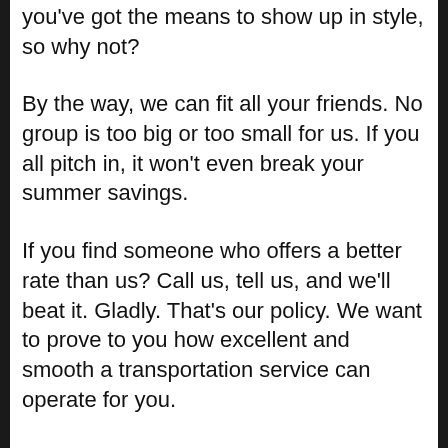you've got the means to show up in style, so why not?
By the way, we can fit all your friends. No group is too big or too small for us. If you all pitch in, it won't even break your summer savings.
If you find someone who offers a better rate than us? Call us, tell us, and we'll beat it. Gladly. That's our policy. We want to prove to you how excellent and smooth a transportation service can operate for you.
We have the nicest, newest fleet in Phoenix, with luxurious brand new vehicles.
Plus, our drivers know the city very well and are always early, because one of our guiding